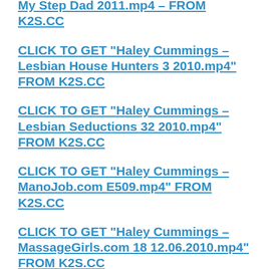My Step Dad 2011.mp4 – FROM K2S.CC
CLICK TO GET "Haley Cummings – Lesbian House Hunters 3 2010.mp4" FROM K2S.CC
CLICK TO GET "Haley Cummings – Lesbian Seductions 32 2010.mp4" FROM K2S.CC
CLICK TO GET "Haley Cummings – ManoJob.com E509.mp4" FROM K2S.CC
CLICK TO GET "Haley Cummings – MassageGirls.com 18 12.06.2010.mp4" FROM K2S.CC
CLICK TO GET "Haley Cummings – Masseuse 1 2011 HD.mp4" FROM K2S.CC